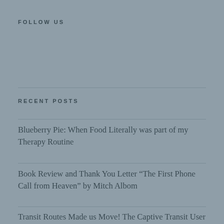FOLLOW US
RECENT POSTS
Blueberry Pie: When Food Literally was part of my Therapy Routine
Book Review and Thank You Letter “The First Phone Call from Heaven” by Mitch Albom
Transit Routes Made us Move! The Captive Transit User Series: Part 8